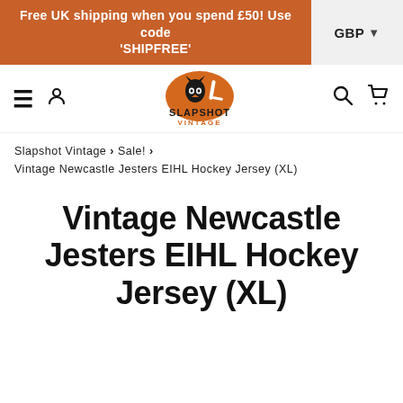Free UK shipping when you spend £50! Use code 'SHIPFREE'
[Figure (logo): Slapshot Vintage logo with hockey player and orange/brown color scheme]
Slapshot Vintage > Sale! > Vintage Newcastle Jesters EIHL Hockey Jersey (XL)
Vintage Newcastle Jesters EIHL Hockey Jersey (XL)